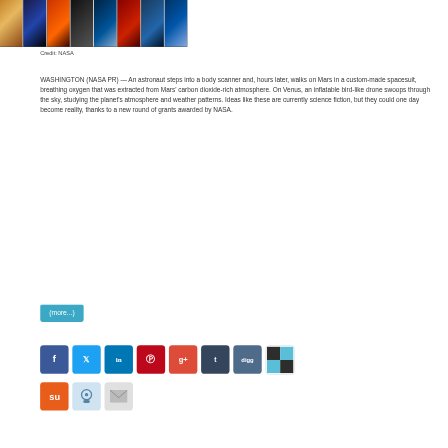[Figure (photo): Collage strip of NASA science images including spacecraft, planets, and atmospheric visualizations]
Credit: NASA
WASHINGTON (NASA PR) — An astronaut steps into a body scanner and, hours later, walks on Mars in a custom-made spacesuit, breathing oxygen that was extracted from Mars' carbon dioxide-rich atmosphere. On Venus, an inflatable bird-like drone swoops through the sky, studying the planet's atmosphere and weather patterns. Ideas like these are currently science fiction, but they could one day become reality, thanks to a new round of grants awarded by NASA.
(more...)